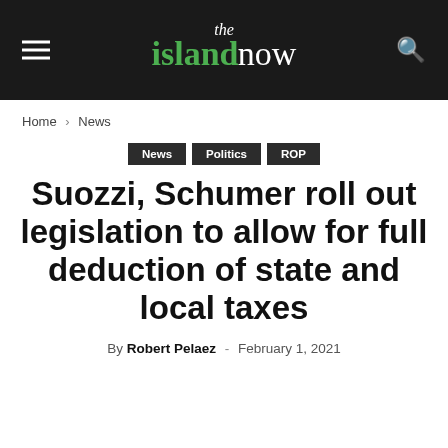the islandnow
Home › News
News
Politics
ROP
Suozzi, Schumer roll out legislation to allow for full deduction of state and local taxes
By Robert Pelaez - February 1, 2021